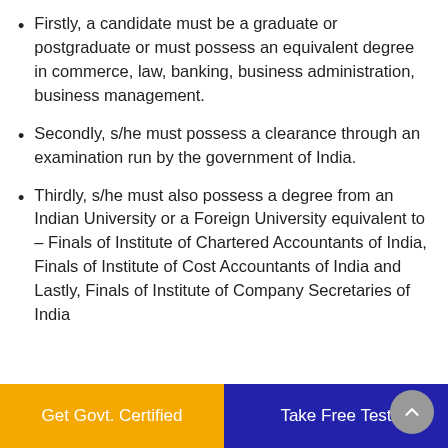Firstly, a candidate must be a graduate or postgraduate or must possess an equivalent degree in commerce, law, banking, business administration, business management.
Secondly, s/he must possess a clearance through an examination run by the government of India.
Thirdly, s/he must also possess a degree from an Indian University or a Foreign University equivalent to – Finals of Institute of Chartered Accountants of India, Finals of Institute of Cost Accountants of India and Lastly, Finals of Institute of Company Secretaries of India
Get Govt. Certified | Take Free Test